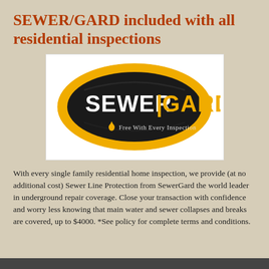SEWER/GARD included with all residential inspections
[Figure (logo): SewerGard logo — black oval with yellow border, white text 'SEWER' and yellow text 'GARD', tagline 'Free With Every Inspection' below in white on black oval]
With every single family residential home inspection, we provide (at no additional cost) Sewer Line Protection from SewerGard the world leader in underground repair coverage. Close your transaction with confidence and worry less knowing that main water and sewer collapses and breaks are covered, up to $4000. *See policy for complete terms and conditions.